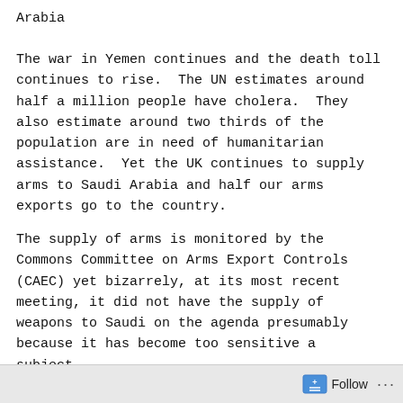Arabia
The war in Yemen continues and the death toll continues to rise.  The UN estimates around half a million people have cholera.  They also estimate around two thirds of the population are in need of humanitarian assistance.  Yet the UK continues to supply arms to Saudi Arabia and half our arms exports go to the country.
The supply of arms is monitored by the Commons Committee on Arms Export Controls (CAEC) yet bizarrely, at its most recent meeting, it did not have the supply of weapons to Saudi on the agenda presumably because it has become too sensitive a subject.
There are many worries about arms sales and in